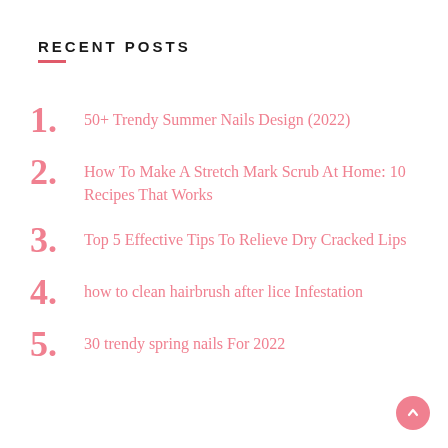RECENT POSTS
50+ Trendy Summer Nails Design (2022)
How To Make A Stretch Mark Scrub At Home: 10 Recipes That Works
Top 5 Effective Tips To Relieve Dry Cracked Lips
how to clean hairbrush after lice Infestation
30 trendy spring nails For 2022